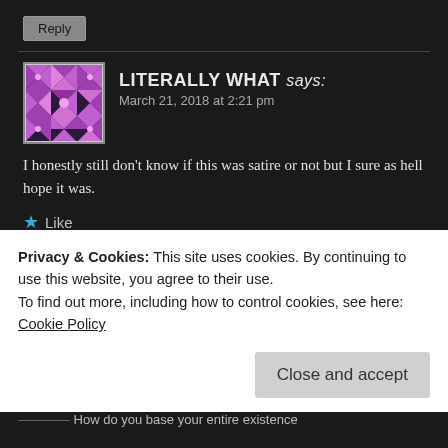Reply
LITERALLY WHAT says:
March 21, 2018 at 2:21 pm
I honestly still don't know if this was satire or not but I sure as hell hope it was.
★ Like
Reply
The Melanin Man says:
March 21, 2018 at 2:53 pm
Nope.
Privacy & Cookies: This site uses cookies. By continuing to use this website, you agree to their use.
To find out more, including how to control cookies, see here:
Cookie Policy
Close and accept
How do you base your entire existence